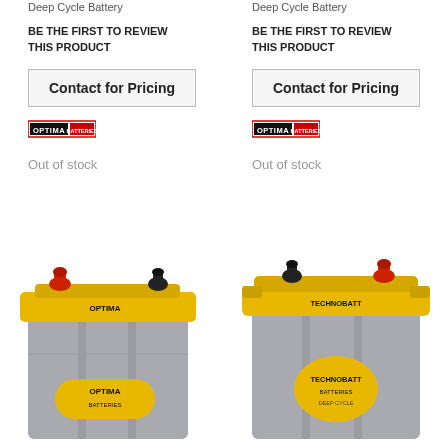Deep Cycle Battery
Deep Cycle Battery
BE THE FIRST TO REVIEW THIS PRODUCT
BE THE FIRST TO REVIEW THIS PRODUCT
Contact for Pricing
Contact for Pricing
[Figure (logo): Optima Batteries brand logo]
[Figure (logo): Optima Batteries brand logo]
Out of stock
Out of stock
[Figure (photo): Yellow top Optima deep cycle battery with grey casing and yellow top, two terminals visible]
[Figure (photo): Yellow top deep cycle battery with grey casing and yellow top, two terminals visible]